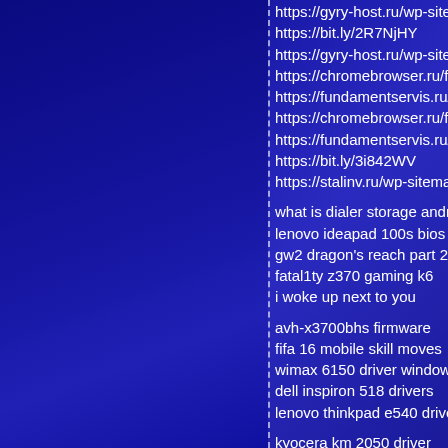https://gyry-host.ru/wp-sitemap...
https://bit.ly/2R7NjHY
https://gyry-host.ru/wp-sitemap...
https://chromebrowser.ru/f5-vp...
https://fundamentservis.ru/engl...
https://chromebrowser.ru/free-...
https://fundamentservis.ru/asus...
https://bit.ly/3i842WV
https://stalinv.ru/wp-sitemap-p...
what is dialer storage android
lenovo ideapad 100s bios
gw2 dragon's reach part 2 achi...
fatal1ty z370 gaming k6
i woke up next to you
avh-x3700bhs firmware
fifa 16 mobile skill moves
wimax 6150 driver windows 10...
dell inspiron 518 drivers
lenovo thinkpad e540 drivers
kyocera km 2050 driver
is killzone 3 split screen
acer aspire 5742z drivers